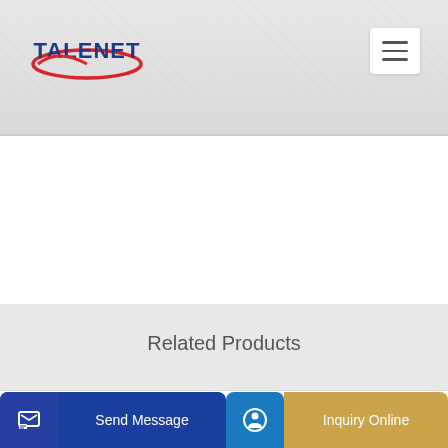[Figure (logo): TALENET company logo with red oval and blue bold text]
Related Products
5cbm Hino Euro 3 Concrete Dlievery Transport Mixer Truck
js750 concrete mixer price 2021 js750 concrete mixer
Send Message
Inquiry Online